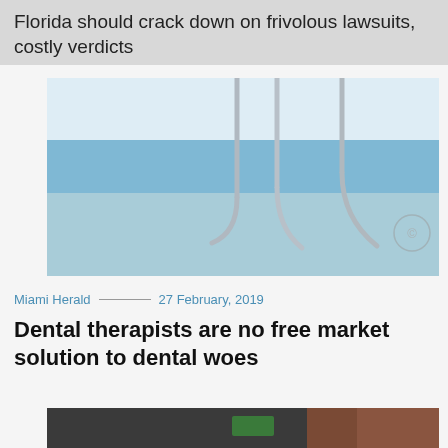Florida should crack down on frivolous lawsuits, costly verdicts
[Figure (photo): Dental tools (metal hooks/picks) against a blue background]
Miami Herald — 27 February, 2019
Dental therapists are no free market solution to dental woes
[Figure (photo): Police officers and protesters on a city street, one person wearing a face mask]